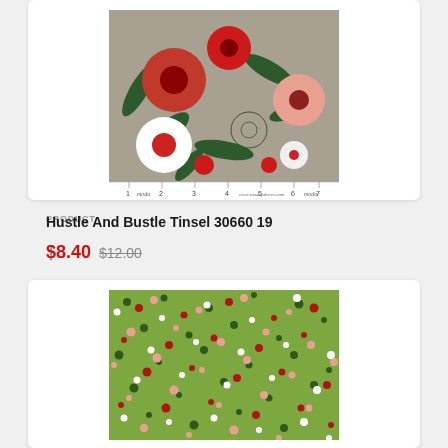[Figure (photo): Floral fabric swatch on gray background with red, white, green, and pink flowers and leaves, with ruler strip at bottom showing Moda branding]
PRODUCT
Hustle And Bustle Tinsel 30660 19
$8.40 $12.00
[Figure (photo): Green fabric swatch with multicolor scattered dots pattern in red, dark green, pink, and white on olive green background]